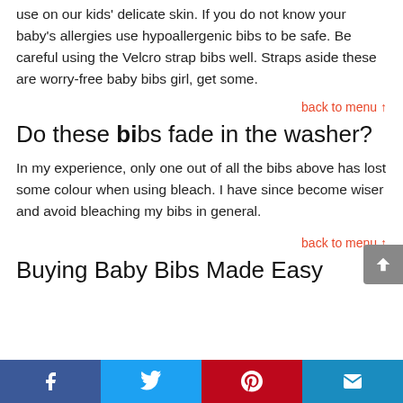use on our kids' delicate skin. If you do not know your baby's allergies use hypoallergenic bibs to be safe. Be careful using the Velcro strap bibs well. Straps aside these are worry-free baby bibs girl, get some.
back to menu ↑
Do these bibs fade in the washer?
In my experience, only one out of all the bibs above has lost some colour when using bleach. I have since become wiser and avoid bleaching my bibs in general.
back to menu ↑
Buying Baby Bibs Made Easy